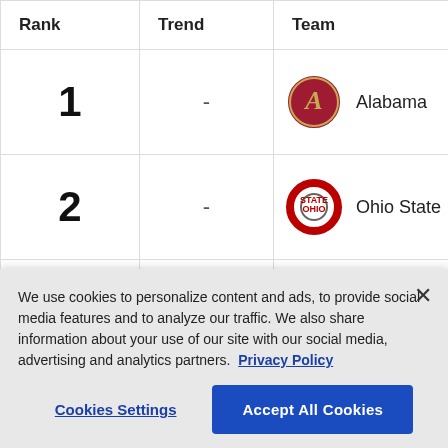| Rank | Trend | Team |
| --- | --- | --- |
| 1 | - | Alabama |
| 2 | - | Ohio State |
| 3 | - | Georgia |
| 4 | - | Clemson |
We use cookies to personalize content and ads, to provide social media features and to analyze our traffic. We also share information about your use of our site with our social media, advertising and analytics partners. Privacy Policy
Cookies Settings
Accept All Cookies